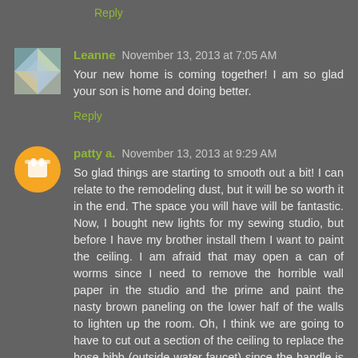Reply
Leanne November 13, 2013 at 7:05 AM
Your new home is coming together! I am so glad your son is home and doing better.
Reply
patty a. November 13, 2013 at 9:29 AM
So glad things are starting to smooth out a bit! I can relate to the remodeling dust, but it will be so worth it in the end. The space you will have will be fantastic. Now, I bought new lights for my sewing studio, but before I have my brother install them I want to paint the ceiling. I am afraid that may open a can of worms since I need to remove the horrible wall paper in the studio and the prime and paint the nasty brown paneling on the lower half of the walls to lighten up the room. Oh, I think we are going to have to cut out a section of the ceiling to replace the hose bibb (outside water faucet) since the handle is broken. The pipe